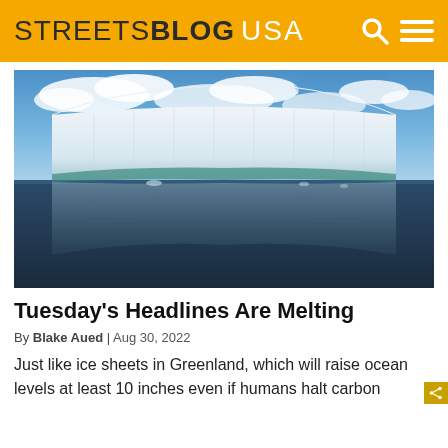STREETSBLOG USA
[Figure (photo): Large tabular iceberg floating in calm water with blue sky and clouds reflected in the water below]
Tuesday's Headlines Are Melting
By Blake Aued | Aug 30, 2022
Just like ice sheets in Greenland, which will raise ocean levels at least 10 inches even if humans halt carbon